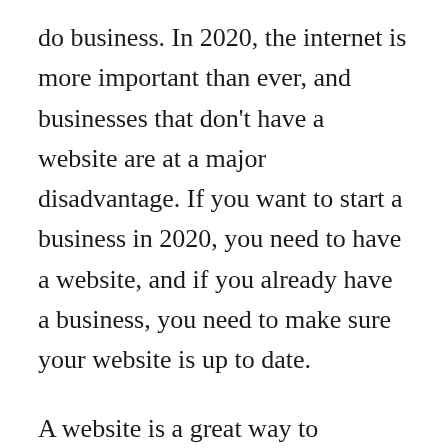do business. In 2020, the internet is more important than ever, and businesses that don't have a website are at a major disadvantage. If you want to start a business in 2020, you need to have a website, and if you already have a business, you need to make sure your website is up to date.
A website is a great way to showcase your products or services to the world. It can also be used to attract new customers and keep existing customers updated on your latest products or services. In addition, a website can help you build a brand and create a loyal